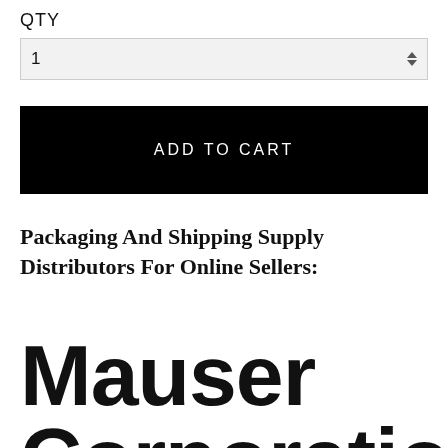QTY
1
ADD TO CART
Packaging And Shipping Supply Distributors For Online Sellers:
Mauser
Corporation